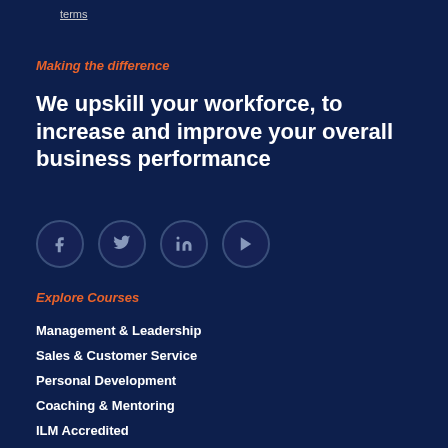terms
Making the difference
We upskill your workforce, to increase and improve your overall business performance
[Figure (infographic): Four social media icon circles: Facebook, Twitter, LinkedIn, YouTube]
Explore Courses
Management & Leadership
Sales & Customer Service
Personal Development
Coaching & Mentoring
ILM Accredited